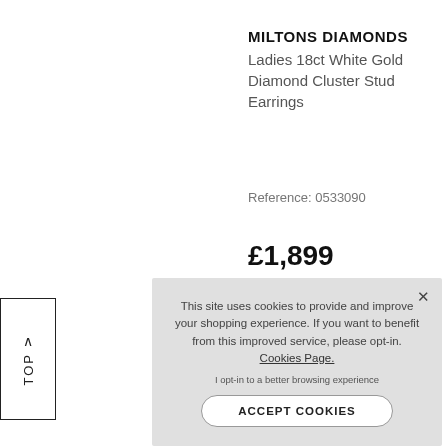MILTONS DIAMONDS
Ladies 18ct White Gold Diamond Cluster Stud Earrings
Reference: 0533090
£1,899
This site uses cookies to provide and improve your shopping experience. If you want to benefit from this improved service, please opt-in. Cookies Page.

I opt-in to a better browsing experience
ACCEPT COOKIES
TOP